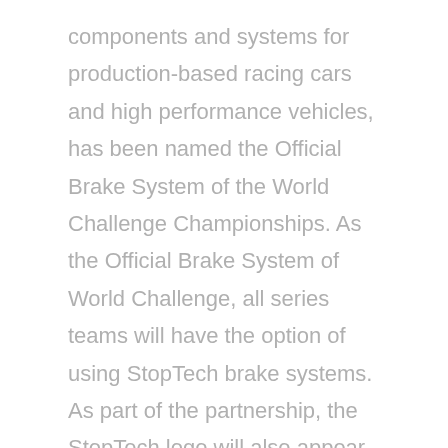components and systems for production-based racing cars and high performance vehicles, has been named the Official Brake System of the World Challenge Championships. As the Official Brake System of World Challenge, all series teams will have the option of using StopTech brake systems. As part of the partnership, the StopTech logo will also appear on all World Challenge number boards.
StopTech was the first aftermarket brake company to offer Balanced Brake Upgrades™ for production cars, engineered to dramatically improve overall braking performance while remaining compatible with the stock original equipment (OE) rear brakes.